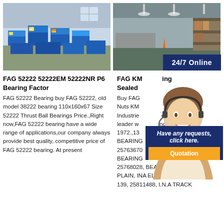[Figure (photo): Warehouse with blue stacked bearing boxes on pallets]
[Figure (photo): Large empty warehouse interior with shelving and boxes]
24/7 Online
FAG 52222 52222EM 52222NR P6 Bearing Factor
FAG 52222 Bearing buy FAG 52222, old model 38222 bearing 110x160x67 Size 52222 Thrust Ball Bearings Price.,Right now,FAG 52222 bearing have a wide range of applications,our company always provide best quality, competitive price of FAG 52222 bearing. At present
FAG KM ing Sealed
Buy FAG Lock Nuts KM Industries e leader w nce 1972.,13 LE BEARING 7, 25763670 BEARING 25768028, BEARING, SPHER, PLAIN, INA ELGES GE 30 SW. 139, 25811488, I.N.A TRACK
[Figure (photo): Customer service agent with headset smiling]
Have any requests, click here.
Quotation